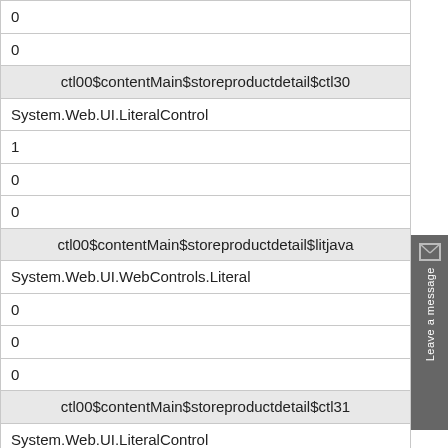| 0 |
| 0 |
| ctl00$contentMain$storeproductdetail$ctl30 |
| System.Web.UI.LiteralControl |
| 1 |
| 0 |
| 0 |
| ctl00$contentMain$storeproductdetail$litjava |
| System.Web.UI.WebControls.Literal |
| 0 |
| 0 |
| 0 |
| ctl00$contentMain$storeproductdetail$ctl31 |
| System.Web.UI.LiteralControl |
| 143 |
| 0 |